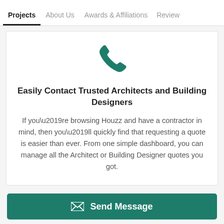Projects | About Us | Awards & Affiliations | Review
[Figure (illustration): Teal phone handset icon]
Easily Contact Trusted Architects and Building Designers
If you’re browsing Houzz and have a contractor in mind, then you’ll quickly find that requesting a quote is easier than ever. From one simple dashboard, you can manage all the Architect or Building Designer quotes you got.
Architects & Building Designers near Houston
Send Message